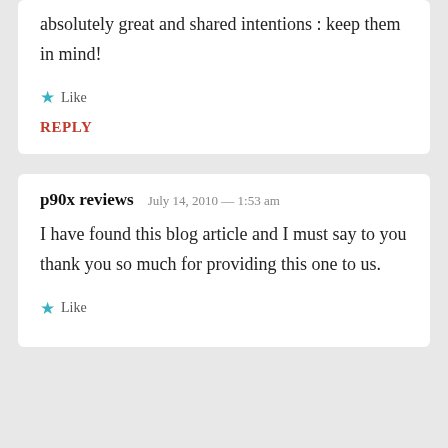absolutely great and shared intentions : keep them in mind!
★ Like
REPLY
p90x reviews  July 14, 2010 — 1:53 am
I have found this blog article and I must say to you thank you so much for providing this one to us.
★ Like